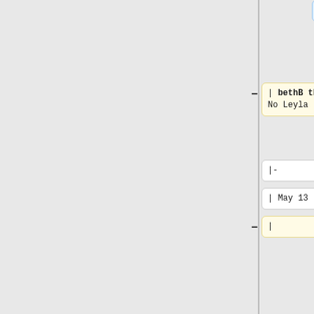| or big paper?
- | bethB there, No Leyla
+ | No Leyla, Brenna and Karen late
|- |-
| May 13  | May 13
- |
+ | ML/Leyla
- |
+ | Nickelodeon
- |
+ | Beth F there, No Cianna, possible new kid Caitlyn visits
|- |-